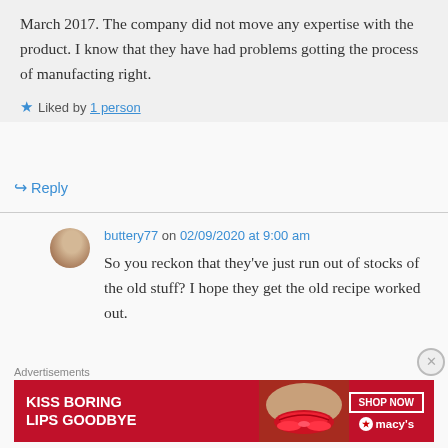March 2017. The company did not move any expertise with the product. I know that they have had problems gotting the process of manufacting right.
Liked by 1 person
Reply
buttery77 on 02/09/2020 at 9:00 am
So you reckon that they've just run out of stocks of the old stuff? I hope they get the old recipe worked out.
Advertisements
[Figure (illustration): Macy's advertisement banner reading KISS BORING LIPS GOODBYE with SHOP NOW button and Macy's star logo]